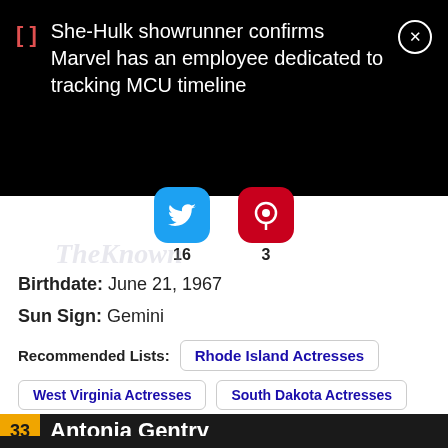[Figure (screenshot): Notification banner on black background: bracket icon in red, text 'She-Hulk showrunner confirms Marvel has an employee dedicated to tracking MCU timeline', close button (X in circle)]
16  3
Birthdate: June 21, 1967
Sun Sign: Gemini
Recommended Lists:  Rhode Island Actresses
West Virginia Actresses
South Dakota Actresses
33  Antonia Gentry
Celebrities Born On My Birthday?  Enter Your DOB  GO